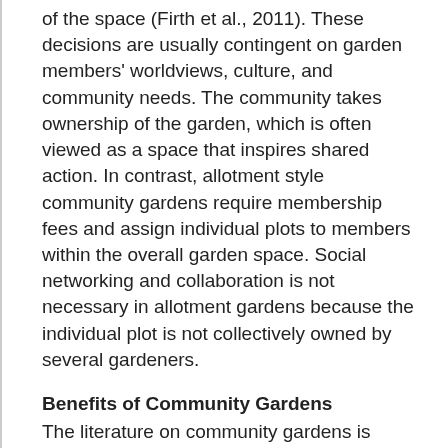of the space (Firth et al., 2011). These decisions are usually contingent on garden members' worldviews, culture, and community needs. The community takes ownership of the garden, which is often viewed as a space that inspires shared action. In contrast, allotment style community gardens require membership fees and assign individual plots to members within the overall garden space. Social networking and collaboration is not necessary in allotment gardens because the individual plot is not collectively owned by several gardeners.
Benefits of Community Gardens
The literature on community gardens is relatively new and a majority of the early research focused generally on what community gardens do for people and why they are created.
Community gardening has a host of benefits across multiple domains of people's lives, including psychological benefits through reducing stress and depressive symptoms and health benefits by improving diet and exercise (Nishii,